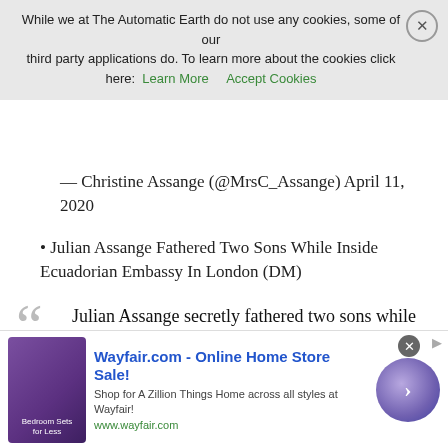There was no good reason for this other than to continue her bullying of Julian to try & break him. So Stella was forced to speak first. https://t.co/GkxZAhmCHF
While we at The Automatic Earth do not use any cookies, some of our third party applications do. To learn more about the cookies click here: Learn More  Accept Cookies
— Christine Assange (@MrsC_Assange) April 11, 2020
Julian Assange Fathered Two Sons While Inside Ecuadorian Embassy In London (DM)
Julian Assange secretly fathered two sons while holed up in the Ecuadorian embassy in London, The Mail on Sunday can reveal. Gabriel, aged two, and his one-year-old brother Max were conceived while their father was hiding out to avoid extradition to America, where he faces espionage charges over the leaking of thousands of classified US intelligence documents. At the time, Assange, 48, was also wanted in Sweden where he was accused of rape. He has always denied the sex allegations, which have now been dropped.
[Figure (other): Advertisement banner for Wayfair.com - Online Home Store Sale! Shop for A Zillion Things Home across all styles at Wayfair! www.wayfair.com]